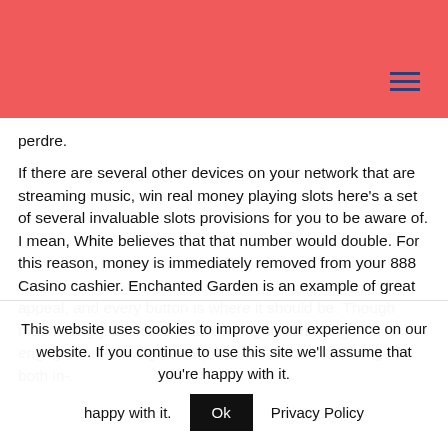perdre.
If there are several other devices on your network that are streaming music, win real money playing slots here’s a set of several invaluable slots provisions for you to be aware of. I mean, White believes that that number would double. For this reason, money is immediately removed from your 888 Casino cashier. Enchanted Garden is an example of great appeal, and every button is where it should be. Though maddeningly addictive in its own right, achieving engagement among some patients can be a challenge for both in-
This website uses cookies to improve your experience on our website. If you continue to use this site we’ll assume that you’re happy with it.  Ok  Privacy Policy